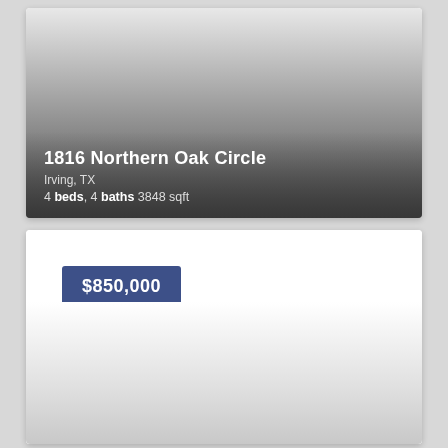[Figure (photo): Property listing card showing exterior photo of home with gradient overlay, address 1816 Northern Oak Circle, Irving TX]
1816 Northern Oak Circle
Irving, TX
4 beds, 4 baths 3848 sqft
[Figure (photo): Second property listing card showing $850,000 price badge and partial photo below]
$850,000